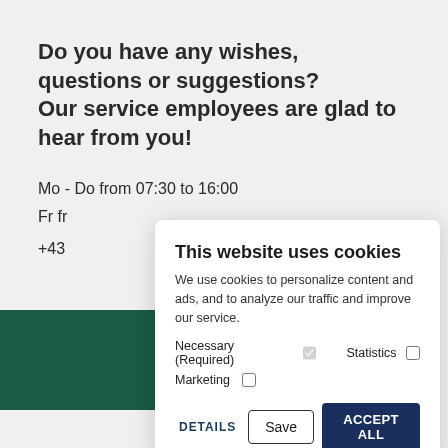Do you have any wishes, questions or suggestions?
Our service employees are glad to hear from you!
Mo - Do from 07:30 to 16:00
Fr fro…
+43 …
[Figure (other): Dark green colored bar/rectangle element on left side]
This website uses cookies
We use cookies to personalize content and ads, and to analyze our traffic and improve our service.
Necessary (Required) [checked] Statistics [unchecked]
Marketing [unchecked]
DETAILS | Save | ACCEPT ALL
DIE TREIBENDE